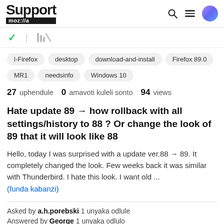Support moz://a
l-Firefox  desktop  download-and-install  Firefox 89.0  MR1  needsinfo  Windows 10
27 uphendule  0 amavoti kuleli sonto  94 views
Hate update 89 → how rollback with all settings/history to 88 ? Or change the look of 89 that it will look like 88
Hello, today I was surprised with a update ver.88 → 89. It completely changed the look. Few weeks back it was similar with Thunderbird. I hate this look. I want old ... (funda kabanzi)
Asked by a.h.porebski 1 unyaka odlule
Answered by George 1 unyaka odlulo